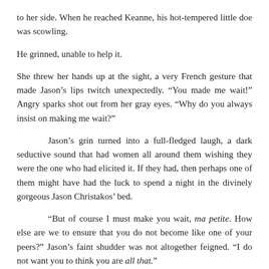to her side. When he reached Keanne, his hot-tempered little doe was scowling.
He grinned, unable to help it.
She threw her hands up at the sight, a very French gesture that made Jason's lips twitch unexpectedly. “You made me wait!” Angry sparks shot out from her gray eyes. “Why do you always insist on making me wait?”
Jason’s grin turned into a full-fledged laugh, a dark seductive sound that had women all around them wishing they were the one who had elicited it. If they had, then perhaps one of them might have had the luck to spend a night in the divinely gorgeous Jason Christakos’ bed.
“But of course I must make you wait, ma petite. How else are we to ensure that you do not become like one of your peers?” Jason’s faint shudder was not altogether feigned. “I do not want you to think you are all that.”